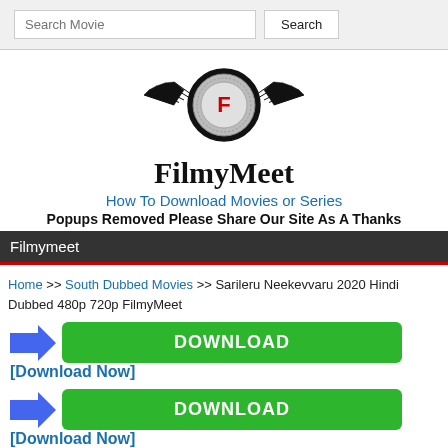[Figure (screenshot): Search bar with text input labeled 'Search Movie' and a 'Search' button]
[Figure (logo): FilmyMeet logo: winged wheel emblem with letter F in center]
FilmyMeet
How To Download Movies or Series
Popups Removed Please Share Our Site As A Thanks
Filmymeet
Home >> South Dubbed Movies >> Sarileru Neekevvaru 2020 Hindi Dubbed 480p 720p FilmyMeet
[Figure (screenshot): Blue arrow icon pointing right next to a green DOWNLOAD button]
[Download Now]
[Figure (screenshot): Blue arrow icon pointing right next to a green DOWNLOAD button]
[Download Now]